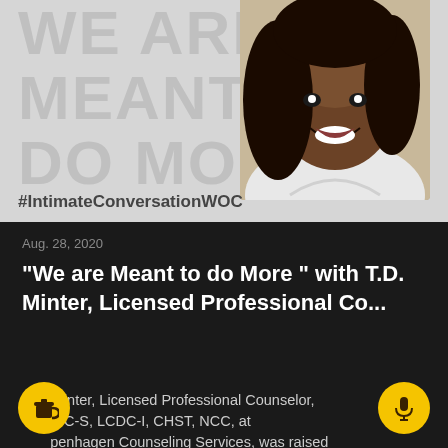[Figure (photo): Podcast episode thumbnail with large watermark text 'WE ARE MEANT TO DO MORE' on grey background with photo of a smiling woman on the right side, and hashtag #IntimateConversationWOC at the bottom]
Aug. 28, 2020
“We are Meant to do More ” with T.D. Minter, Licensed Professional Co...
T.D. Minter, Licensed Professional Counselor, LPC-S, LCDC-I, CHST, NCC, at penhagen Counseling Services, was raised